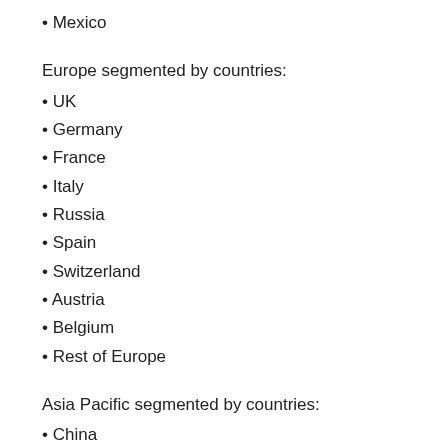• Mexico
Europe segmented by countries:
• UK
• Germany
• France
• Italy
• Russia
• Spain
• Switzerland
• Austria
• Belgium
• Rest of Europe
Asia Pacific segmented by countries:
• China
• Japan